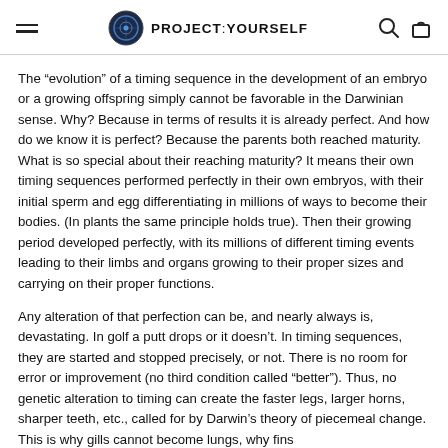PROJECT:YOURSELF
The “evolution” of a timing sequence in the development of an embryo or a growing offspring simply cannot be favorable in the Darwinian sense. Why? Because in terms of results it is already perfect. And how do we know it is perfect? Because the parents both reached maturity. What is so special about their reaching maturity? It means their own timing sequences performed perfectly in their own embryos, with their initial sperm and egg differentiating in millions of ways to become their bodies. (In plants the same principle holds true). Then their growing period developed perfectly, with its millions of different timing events leading to their limbs and organs growing to their proper sizes and carrying on their proper functions.
Any alteration of that perfection can be, and nearly always is, devastating. In golf a putt drops or it doesn’t. In timing sequences, they are started and stopped precisely, or not. There is no room for error or improvement (no third condition called “better”). Thus, no genetic alteration to timing can create the faster legs, larger horns, sharper teeth, etc., called for by Darwin’s theory of piecemeal change. This is why gills cannot become lungs, why fins